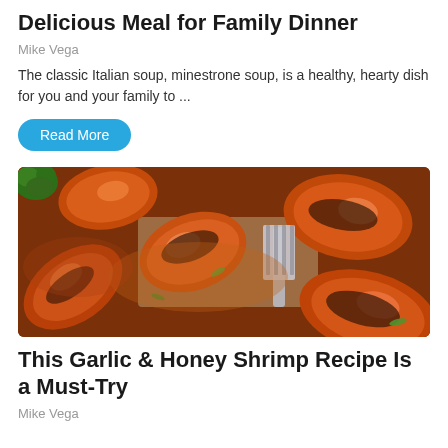Delicious Meal for Family Dinner
Mike Vega
The classic Italian soup, minestrone soup, is a healthy, hearty dish for you and your family to ...
Read More
[Figure (photo): Close-up photo of glazed garlic honey shrimp over rice with a fork, garnished with green onions]
This Garlic & Honey Shrimp Recipe Is a Must-Try
Mike Vega